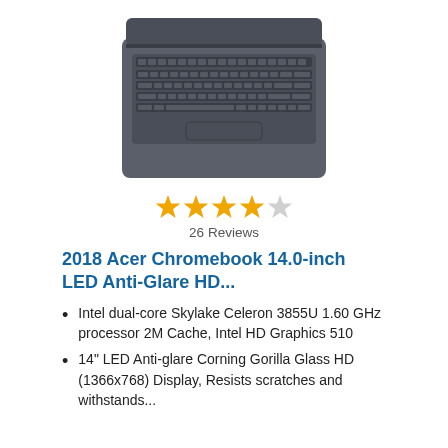[Figure (photo): Top-down view of an Acer Chromebook laptop with dark grey/slate body, keyboard visible, and trackpad]
[Figure (other): 4 out of 5 yellow stars rating]
26 Reviews
2018 Acer Chromebook 14.0-inch LED Anti-Glare HD...
Intel dual-core Skylake Celeron 3855U 1.60 GHz processor 2M Cache, Intel HD Graphics 510
14" LED Anti-glare Corning Gorilla Glass HD (1366x768) Display, Resists scratches and withstands...